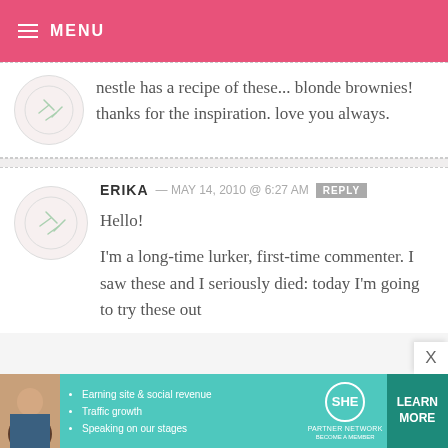MENU
nestle has a recipe of these... blonde brownies! thanks for the inspiration. love you always.
ERIKA — MAY 14, 2010 @ 6:27 AM  REPLY
Hello!
I'm a long-time lurker, first-time commenter. I saw these and I seriously died: today I'm going to try these out
[Figure (infographic): SHE Partner Network advertisement banner with teal background, photo of woman, bullet points about earning site & social revenue, traffic growth, speaking on our stages, SHE logo, and LEARN MORE button]